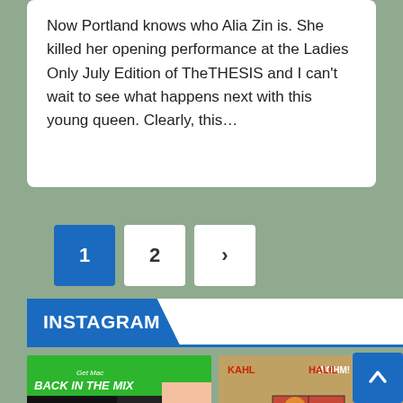Now Portland knows who Alia Zin is. She killed her opening performance at the Ladies Only July Edition of TheTHESIS and I can't wait to see what happens next with this young queen. Clearly, this…
1
2
>
INSTAGRAM
[Figure (photo): Get Mac Back In The Mix Episode Seven promotional graphic with a man and woman on green background]
[Figure (photo): KAHL HALIL WOHM! promotional graphic with Trinidadian flag colors and text PORTLAND MAJIKO]